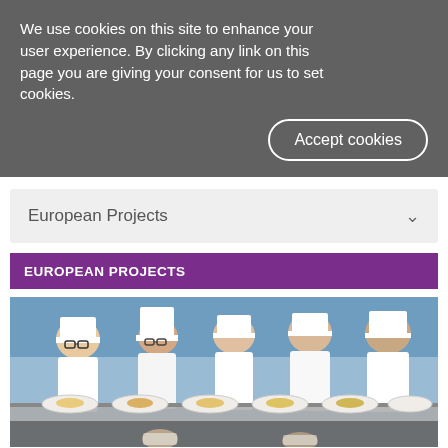We use cookies on this site to enhance your user experience. By clicking any link on this page you are giving your consent for us to set cookies.
Accept cookies
European Projects
EUROPEAN PROJECTS
[Figure (photo): Student chefs in white uniforms and hats plating food dishes in a professional kitchen, viewed from behind a stainless steel counter.]
The City of Glasgow College d...